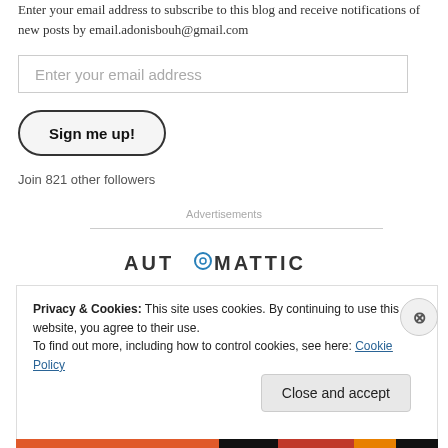Enter your email address to subscribe to this blog and receive notifications of new posts by email.adonisbouh@gmail.com
Enter your email address
Sign me up!
Join 821 other followers
Advertisements
[Figure (logo): AUTOMATTIC logo with stylized O]
Privacy & Cookies: This site uses cookies. By continuing to use this website, you agree to their use.
To find out more, including how to control cookies, see here: Cookie Policy
Close and accept